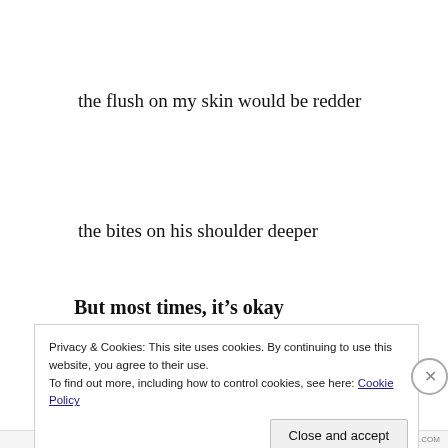the flush on my skin would be redder
the bites on his shoulder deeper
and the clench of his cheeks tighter.
But most times, it’s okay
Privacy & Cookies: This site uses cookies. By continuing to use this website, you agree to their use.
To find out more, including how to control cookies, see here: Cookie Policy